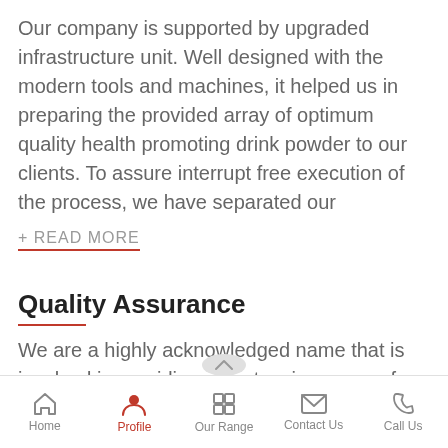Our company is supported by upgraded infrastructure unit. Well designed with the modern tools and machines, it helped us in preparing the provided array of optimum quality health promoting drink powder to our clients. To assure interrupt free execution of the process, we have separated our
+ READ MORE
Quality Assurance
We are a highly acknowledged name that is involved in providing an extensive range of health promoting drink powder to our esteemed customers. Composed in compliance with the industry rules, the entire array of products is highly appreciated among our valued customers. With vast experience, and
Home | Profile | Our Range | Contact Us | Call Us